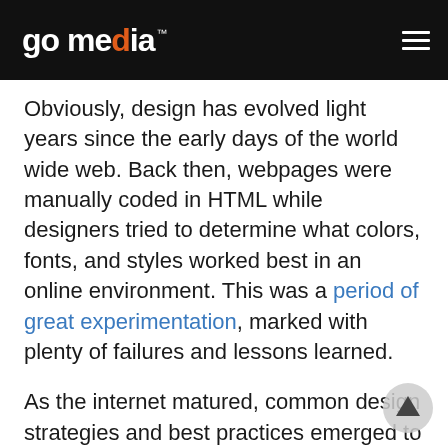go media™
Obviously, design has evolved light years since the early days of the world wide web. Back then, webpages were manually coded in HTML while designers tried to determine what colors, fonts, and styles worked best in an online environment. This was a period of great experimentation, marked with plenty of failures and lessons learned.
As the internet matured, common design strategies and best practices emerged to help developers create a consistent experience for users. At the same time, back-end servers have come to rely on automation to build dynamic web-based applications. The ADI movement combines these two concepts to elevate